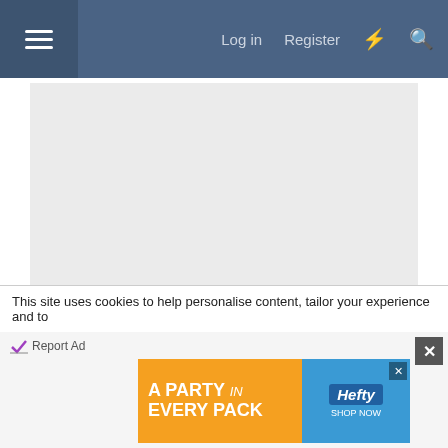Log in  Register
[Figure (other): Advertisement placeholder area (gray background)]
Report Ad
Nov 11, 2007  #13
IllumeGirl
Well-Known Member
This site uses cookies to help personalise content, tailor your experience and to
Report Ad
[Figure (other): Hefty brand advertisement banner: A PARTY in EVERY PACK]